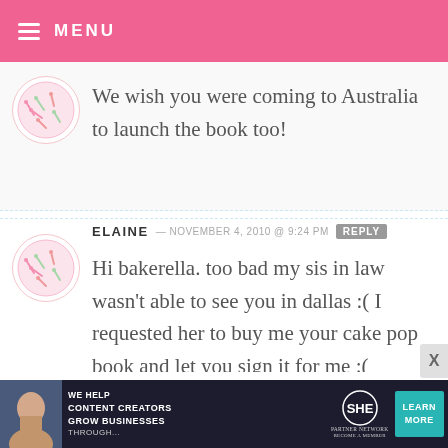MENU
We wish you were coming to Australia to launch the book too!
ELAINE — NOVEMBER 4, 2010 @ 9:24 PM REPLY
Hi bakerella. too bad my sis in law wasn't able to see you in dallas :( I requested her to buy me your cake pop book and let you sign it for me :( huhuhu no chance she was in the hospital when you visited texas :(
[Figure (infographic): SHE Partner Network advertisement banner at the bottom of the page]